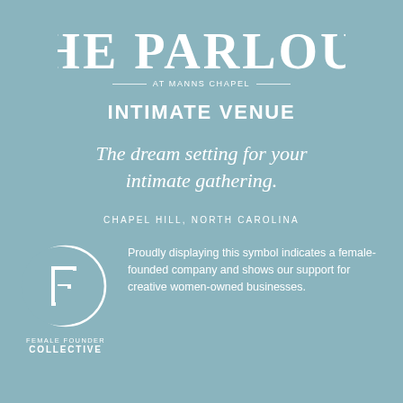THE PARLOUR
AT MANNS CHAPEL
INTIMATE VENUE
The dream setting for your intimate gathering.
CHAPEL HILL, NORTH CAROLINA
[Figure (logo): Female Founder Collective logo: circle with stylized F letter inside, with text FEMALE FOUNDER COLLECTIVE below]
Proudly displaying this symbol indicates a female-founded company and shows our support for creative women-owned businesses.